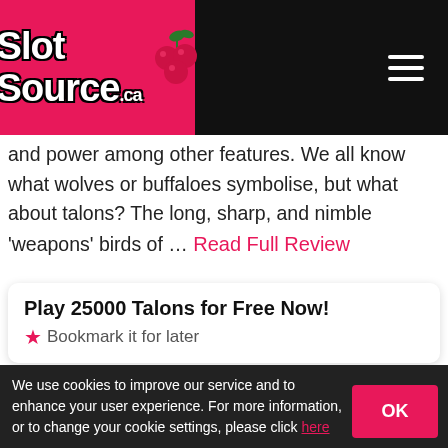SlotSource.ca
and power among other features. We all know what wolves or buffaloes symbolise, but what about talons? The long, sharp, and nimble 'weapons' birds of ... Read Full Review
Play 25000 Talons for Free Now! ★ Bookmark it for later
[Figure (screenshot): Game screenshot showing dark reddish slot game background with text 'You must be 19+ to play this demo']
We use cookies to improve our service and to enhance your user experience. For more information, or to change your cookie settings, please click here